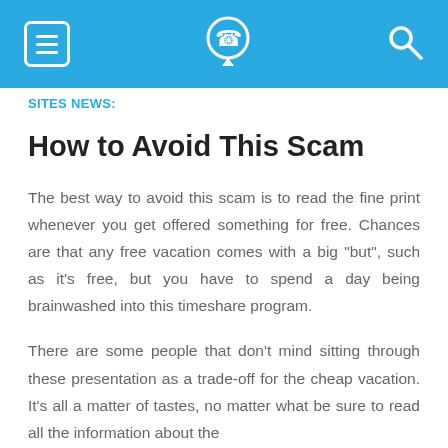SITES NEWS:
How to Avoid This Scam
The best way to avoid this scam is to read the fine print whenever you get offered something for free. Chances are that any free vacation comes with a big "but", such as it's free, but you have to spend a day being brainwashed into this timeshare program.
There are some people that don't mind sitting through these presentation as a trade-off for the cheap vacation. It's all a matter of tastes, no matter what be sure to read all the information about the